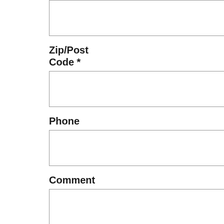[Figure (screenshot): A partial web form showing input fields for Zip/Post Code, Phone, Comment, and Coupon on the left side, and partial text content on the right side separated by a vertical line.]
Zip/Post Code *
Phone
Comment
Coupon
a c c o u m t w i t h s . U